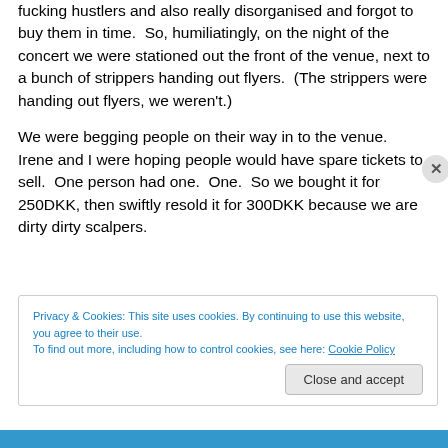fucking hustlers and also really disorganised and forgot to buy them in time.  So, humiliatingly, on the night of the concert we were stationed out the front of the venue, next to a bunch of strippers handing out flyers.  (The strippers were handing out flyers, we weren't.)
We were begging people on their way in to the venue.  Irene and I were hoping people would have spare tickets to sell.  One person had one.  One.  So we bought it for 250DKK, then swiftly resold it for 300DKK because we are dirty dirty scalpers.
Privacy & Cookies: This site uses cookies. By continuing to use this website, you agree to their use.
To find out more, including how to control cookies, see here: Cookie Policy
Close and accept